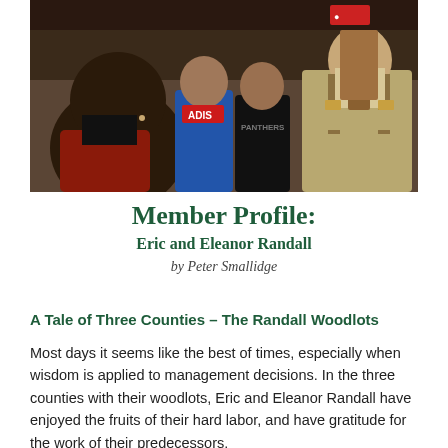[Figure (photo): Group of people standing together indoors; an older man in overalls holds up what appears to be a wooden object or board; others stand nearby including a woman in a black top and a person in a blue Adidas shirt and another in a Panthers jersey.]
Member Profile:
Eric and Eleanor Randall
by Peter Smallidge
A Tale of Three Counties – The Randall Woodlots
Most days it seems like the best of times, especially when wisdom is applied to management decisions. In the three counties with their woodlots, Eric and Eleanor Randall have enjoyed the fruits of their hard labor, and have gratitude for the work of their predecessors.